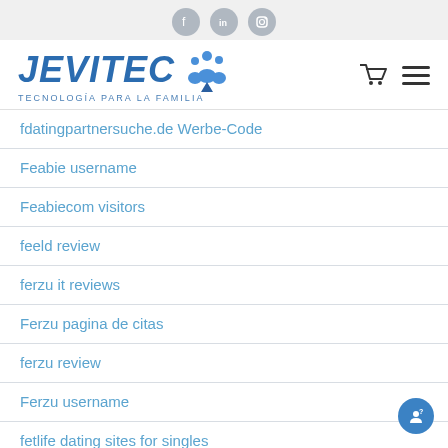Social media icons: Facebook, LinkedIn, Instagram
[Figure (logo): JEVITEC logo with tagline TECNOLOGÍA PARA LA FAMILIA and icon of people/family]
fdatingpartnersuche.de Werbe-Code
Feabie username
Feabiecom visitors
feeld review
ferzu it reviews
Ferzu pagina de citas
ferzu review
Ferzu username
fetlife dating sites for singles